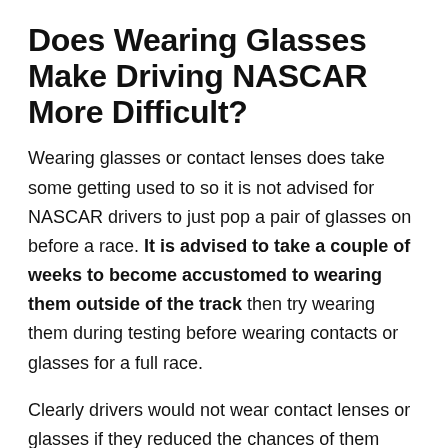Does Wearing Glasses Make Driving NASCAR More Difficult?
Wearing glasses or contact lenses does take some getting used to so it is not advised for NASCAR drivers to just pop a pair of glasses on before a race. It is advised to take a couple of weeks to become accustomed to wearing them outside of the track then try wearing them during testing before wearing contacts or glasses for a full race.

Clearly drivers would not wear contact lenses or glasses if they reduced the chances of them winning a NASCAR race, or performing to their best. They